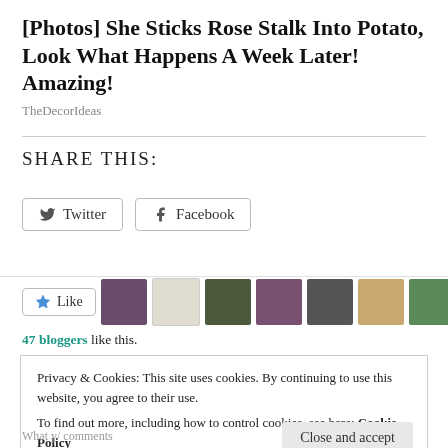[Photos] She Sticks Rose Stalk Into Potato, Look What Happens A Week Later! Amazing!
TheDecorIdeas
SHARE THIS:
[Figure (infographic): Twitter and Facebook share buttons]
[Figure (infographic): Like button and 10 blogger avatar thumbnails in a row]
47 bloggers like this.
Privacy & Cookies: This site uses cookies. By continuing to use this website, you agree to their use.
To find out more, including how to control cookies, see here: Cookie Policy
Close and accept
What y/ comments